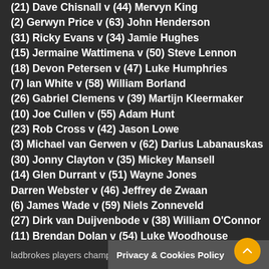(21) Dave Chisnall v (44) Mervyn King
(2) Gerwyn Price v (63) John Henderson
(31) Ricky Evans v (34) Jamie Hughes
(15) Jermaine Wattimena v (50) Steve Lennon
(18) Devon Petersen v (47) Luke Humphries
(7) Ian White v (58) William Borland
(26) Gabriel Clemens v (39) Martijn Kleermaker
(10) Joe Cullen v (55) Adam Hunt
(23) Rob Cross v (42) Jason Lowe
(3) Michael van Gerwen v (62) Darius Labanauskas
(30) Jonny Clayton v (35) Mickey Mansell
(14) Glen Durrant v (51) Wayne Jones
Darren Webster v (46) Jeffrey de Zwaan
(6) James Wade v (59) Niels Zonneveld
(27) Dirk van Duijvenbode v (38) William O'Connor
(11) Brendan Dolan v (54) Luke Woodhouse
(22) Ryan Joyce v (43) Andy Boulton
ladbrokes players champio…
Privacy & Cookies Policy